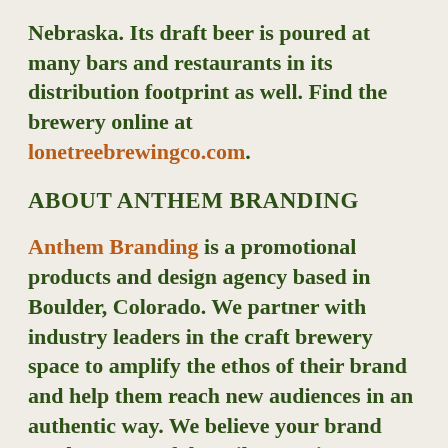Nebraska. Its draft beer is poured at many bars and restaurants in its distribution footprint as well. Find the brewery online at lonetreebrewingco.com.
ABOUT ANTHEM BRANDING
Anthem Branding is a promotional products and design agency based in Boulder, Colorado. We partner with industry leaders in the craft brewery space to amplify the ethos of their brand and help them reach new audiences in an authentic way. We believe your brand can be a powerful tactile experience. Our portfolio of